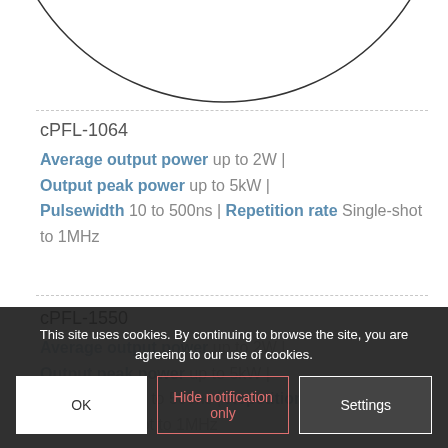[Figure (illustration): Partial view of a circular/arc shape (product image) at the top of the page, showing just the bottom arc of a circle against a white background.]
cPFL-1064
Average output power up to 2W | Output peak power up to 5kW | Pulsewidth 10 to 500ns | Repetition rate Single-shot to 1MHz
cPFL-1550
Average output power up to 2W | Output peak power up to 5kW | Pulsewidth 10 to 500ns | Repetition rate Single-shot to 1MHz
This site uses cookies. By continuing to browse the site, you are agreeing to our use of cookies.
OK
Hide notification only
Settings